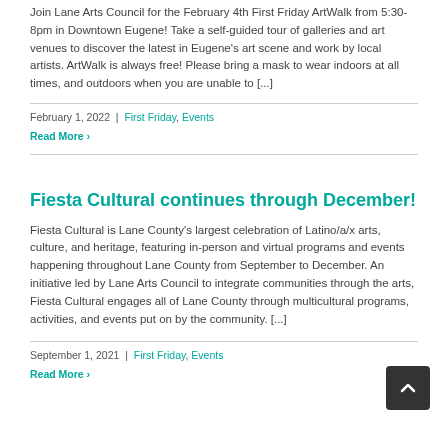Join Lane Arts Council for the February 4th First Friday ArtWalk from 5:30-8pm in Downtown Eugene! Take a self-guided tour of galleries and art venues to discover the latest in Eugene's art scene and work by local artists. ArtWalk is always free! Please bring a mask to wear indoors at all times, and outdoors when you are unable to [...]
February 1, 2022 | First Friday, Events
Read More
Fiesta Cultural continues through December!
Fiesta Cultural is Lane County's largest celebration of Latino/a/x arts, culture, and heritage, featuring in-person and virtual programs and events happening throughout Lane County from September to December. An initiative led by Lane Arts Council to integrate communities through the arts, Fiesta Cultural engages all of Lane County through multicultural programs, activities, and events put on by the community. [...]
September 1, 2021 | First Friday, Events
Read More